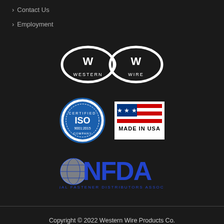Contact Us
Employment
[Figure (logo): Western Wire logo — two stylized W letters inside chain-link ovals connected by a curved link, white on dark background, text WESTERN and WIRE below each W]
[Figure (logo): ISO 9001:2015 Certified Company circular badge in blue and white]
[Figure (logo): Made in USA badge with American flag graphic, red white and blue]
[Figure (logo): NFDA National Fastener Distributors Association logo in blue with globe icon]
Copyright © 2022 Western Wire Products Co.